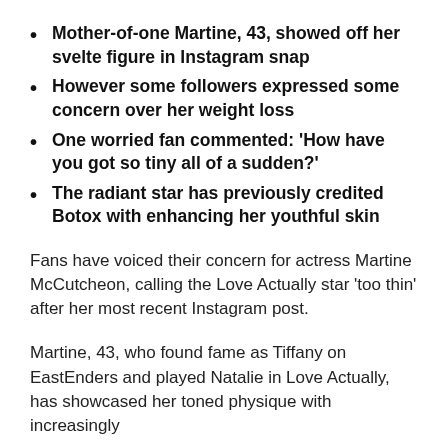Mother-of-one Martine, 43, showed off her svelte figure in Instagram snap
However some followers expressed some concern over her weight loss
One worried fan commented: ‘How have you got so tiny all of a sudden?’
The radiant star has previously credited Botox with enhancing her youthful skin
Fans have voiced their concern for actress Martine McCutcheon, calling the Love Actually star ‘too thin’ after her most recent Instagram post.
Martine, 43, who found fame as Tiffany on EastEnders and played Natalie in Love Actually, has showcased her toned physique with increasingly